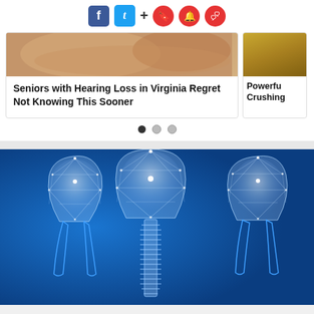[Figure (screenshot): Social media sharing icons: Facebook (blue), Twitter (blue), plus sign, and three red circular icons (bookmark, bell, chat)]
[Figure (screenshot): Content recommendation carousel showing two article cards. Main card: skin/ear photo with headline 'Seniors with Hearing Loss in Virginia Regret Not Knowing This Sooner'. Partial second card: 'Powerful Crushing...' Carousel dots below (3 dots, first filled).]
Seniors with Hearing Loss in Virginia Regret Not Knowing This Sooner
[Figure (illustration): Blue background dental implant illustration showing three glowing wireframe teeth; the center tooth shows a dental implant screw below it, flanked by two natural teeth with blue outlines.]